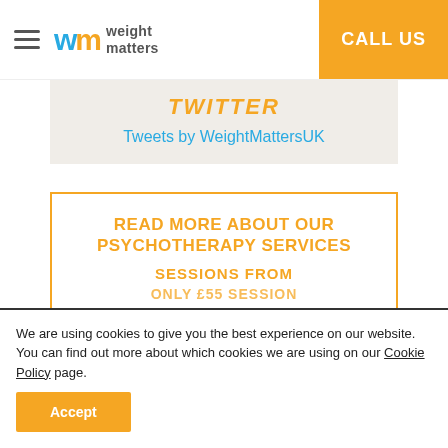Weight Matters | CALL US
TWITTER
Tweets by WeightMattersUK
READ MORE ABOUT OUR PSYCHOTHERAPY SERVICES
SESSIONS FROM
ONLY £55 SESSION
We are using cookies to give you the best experience on our website.
You can find out more about which cookies we are using on our Cookie Policy page.
Accept